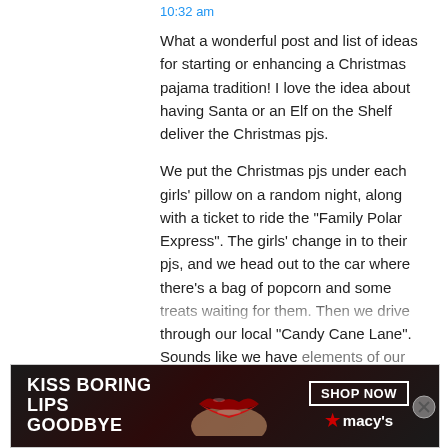10:32 am
What a wonderful post and list of ideas for starting or enhancing a Christmas pajama tradition! I love the idea about having Santa or an Elf on the Shelf deliver the Christmas pjs.
We put the Christmas pjs under each girls’ pillow on a random night, along with a ticket to ride the “Family Polar Express”. The girls’ change in to their pjs, and we head out to the car where there’s a bag of popcorn and some treats waiting for them. Then we drive through our local “Candy Cane Lane”. Sounds like we have elements of our traditions in common. I love you
Advertisements
[Figure (photo): Macy's advertisement banner: KISS BORING LIPS GOODBYE with SHOP NOW button and Macy's logo with red star]